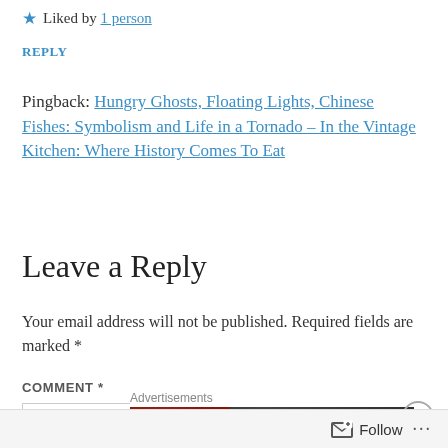★ Liked by 1 person
REPLY
Pingback: Hungry Ghosts, Floating Lights, Chinese Fishes: Symbolism and Life in a Tornado – In the Vintage Kitchen: Where History Comes To Eat
Leave a Reply
Your email address will not be published. Required fields are marked *
COMMENT *
[Figure (screenshot): Advertisement banner showing a pizza image, Seamless branding, and an ORDER button]
Follow